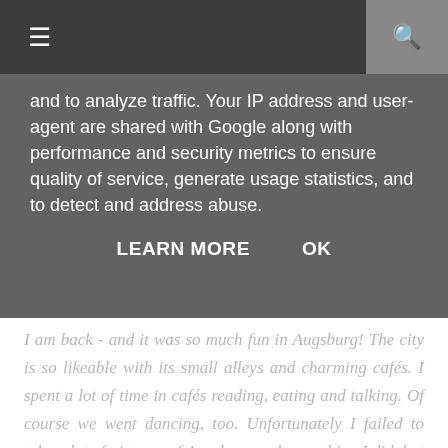≡  [search icon]
and to analyze traffic. Your IP address and user-agent are shared with Google along with performance and security metrics to ensure quality of service, generate usage statistics, and to detect and address abuse.
LEARN MORE   OK
I am back - and it was so much fun in Augsburg! The city is so likeable with its small alleys and charming cafés. I spent a lot of time in cafés reading, eating and talking. Of course we went dancing, too. Unfortunately I failed to take a lot of pictures of Augsburg and everything I did, but at least I made some pictures of thursday. We went to the B-Sides Brecht Festival with a lot of wonderful artists performing some of their songs. The party